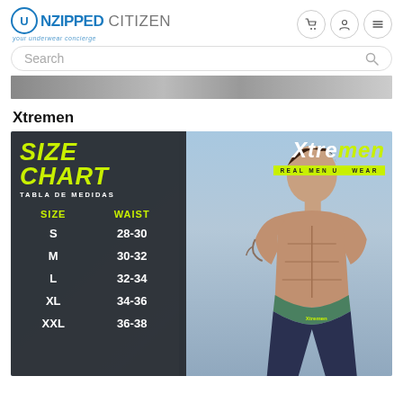UNZIPPED CITIZEN — your underwear concierge
Search
[Figure (photo): Partial product/model photo strip at top of page]
Xtremen
[Figure (infographic): Xtremen size chart image showing a male model with dark panel listing SIZE CHART / TABLA DE MEDIDAS, sizes S/M/L/XL/XXL with waist measurements 28-30, 30-32, 32-34, 34-36, 36-38]